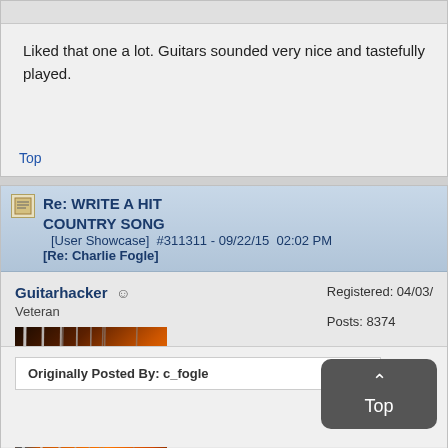Liked that one a lot. Guitars sounded very nice and tastefully played.
Top
Re: WRITE A HIT COUNTRY SONG [Re: Charlie Fogle] [User Showcase] #311311 - 09/22/15 02:02 PM
Guitarhacker
Veteran
Registered: 04/03/
Posts: 8374
[Figure (photo): Close-up photo of guitar strings and fretboard with warm orange/red tones]
Originally Posted By: c_fogle